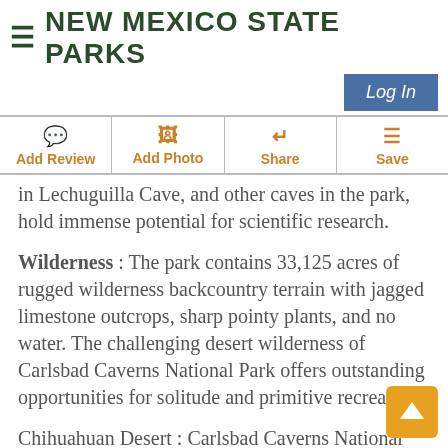NEW MEXICO STATE PARKS
Log In
Add Review  Add Photo  Share  Save
in Lechuguilla Cave, and other caves in the park, hold immense potential for scientific research.
Wilderness : The park contains 33,125 acres of rugged wilderness backcountry terrain with jagged limestone outcrops, sharp pointy plants, and no water. The challenging desert wilderness of Carlsbad Caverns National Park offers outstanding opportunities for solitude and primitive recreation.
Chihuahuan Desert : Carlsbad Caverns National Park contains one of the few protected portions of the northern Chihuahuan Desert ecosystem. The Chihuahuan